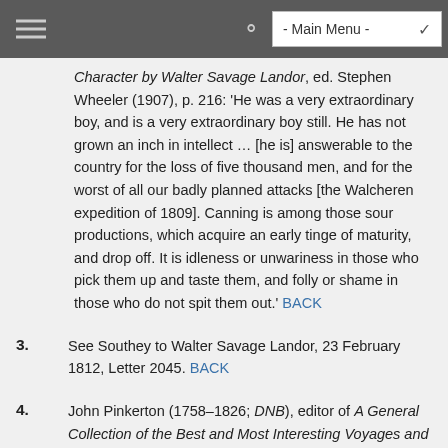- Main Menu -
Character by Walter Savage Landor, ed. Stephen Wheeler (1907), p. 216: 'He was a very extraordinary boy, and is a very extraordinary boy still. He has not grown an inch in intellect … [he is] answerable to the country for the loss of five thousand men, and for the worst of all our badly planned attacks [the Walcheren expedition of 1809]. Canning is among those sour productions, which acquire an early tinge of maturity, and drop off. It is idleness or unwariness in those who pick them up and taste them, and folly or shame in those who do not spit them out.' BACK
3. See Southey to Walter Savage Landor, 23 February 1812, Letter 2045. BACK
4. John Pinkerton (1758–1826; DNB), editor of A General Collection of the Best and Most Interesting Voyages and Travels in All Parts of the World (1808–1814). Southey had approached Murray to enquire about the